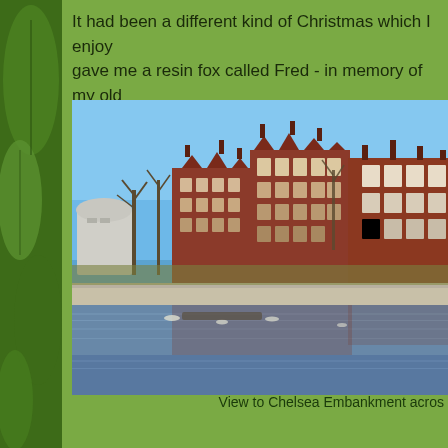It had been a different kind of Christmas which I enjoy gave me a resin fox called Fred - in memory of my old sheep. If you follow this humble Yorkshire blog you will se
[Figure (photo): View to Chelsea Embankment across the River Thames. Red-brick Victorian mansion blocks and buildings along the riverbank, with bare winter trees and a clear blue sky.]
View to Chelsea Embankment acros